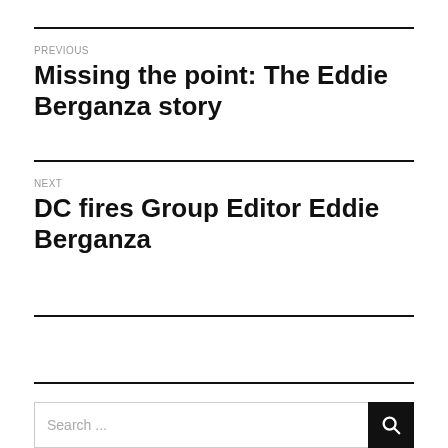PREVIOUS
Missing the point: The Eddie Berganza story
NEXT
DC fires Group Editor Eddie Berganza
Search ...